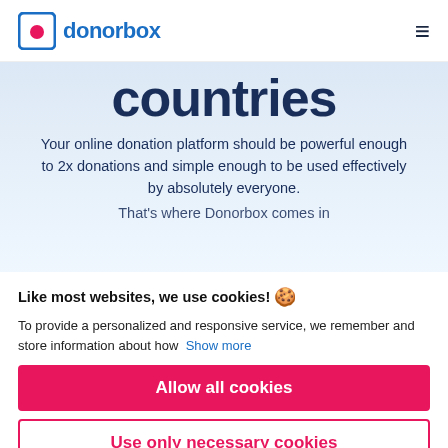donorbox
countries
Your online donation platform should be powerful enough to 2x donations and simple enough to be used effectively by absolutely everyone.
That's where Donorbox comes in
Like most websites, we use cookies!
To provide a personalized and responsive service, we remember and store information about how  Show more
Allow all cookies
Use only necessary cookies
More options